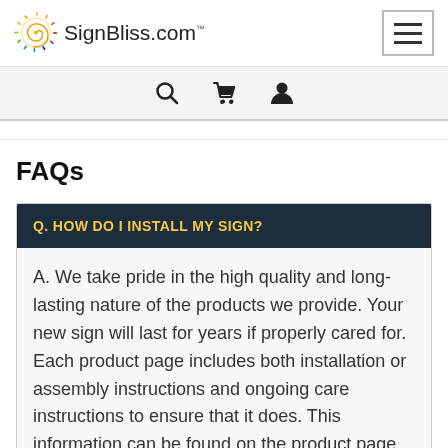SignBliss.com
FAQs
Q. HOW DO I INSTALL MY SIGN?
A. We take pride in the high quality and long-lasting nature of the products we provide. Your new sign will last for years if properly cared for. Each product page includes both installation or assembly instructions and ongoing care instructions to ensure that it does. This information can be found on the product page for your new sign. Please don't hesitate to contact us if you're still unsure or